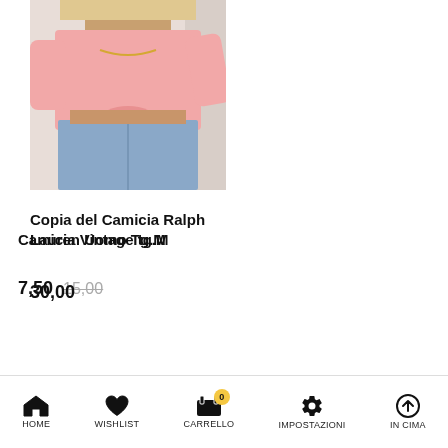Camicia Vintage tg.M
7,50  15,00
[Figure (photo): Woman wearing a pink tied front shirt with denim shorts, product photo for Copia del Camicia Ralph Lauren Uomo Tg.M]
Copia del Camicia Ralph Lauren Uomo Tg.M
30,00
HOME  WISHLIST  CARRELLO  IMPOSTAZIONI  IN CIMA